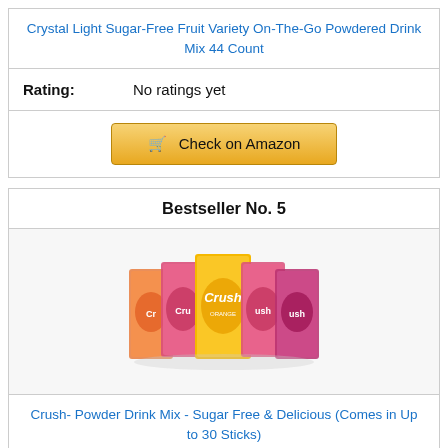Crystal Light Sugar-Free Fruit Variety On-The-Go Powdered Drink Mix 44 Count
Rating: No ratings yet
Check on Amazon
Bestseller No. 5
[Figure (photo): Crush branded powder drink mix boxes fanned out showing multiple flavors including orange and pink varieties]
Crush- Powder Drink Mix - Sugar Free & Delicious (Comes in Up to 30 Sticks)